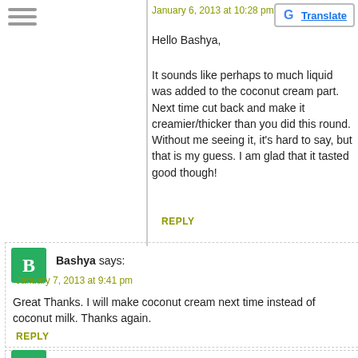January 6, 2013 at 10:28 pm
Hello Bashya,
It sounds like perhaps to much liquid was added to the coconut cream part. Next time cut back and make it creamier/thicker than you did this round. Without me seeing it, it's hard to say, but that is my guess. I am glad that it tasted good though!
REPLY
Bashya says:
January 7, 2013 at 9:41 pm
Great Thanks. I will make coconut cream next time instead of coconut milk. Thanks again.
REPLY